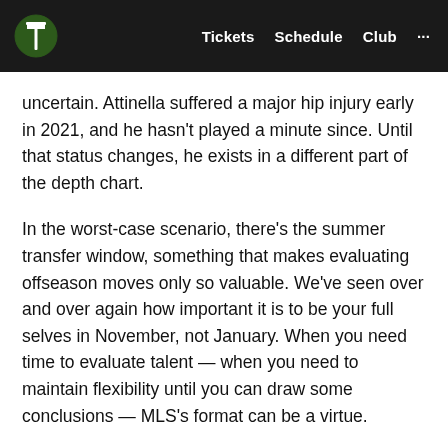Tickets  Schedule  Club  ···
uncertain. Attinella suffered a major hip injury early in 2021, and he hasn't played a minute since. Until that status changes, he exists in a different part of the depth chart.
In the worst-case scenario, there's the summer transfer window, something that makes evaluating offseason moves only so valuable. We've seen over and over again how important it is to be your full selves in November, not January. When you need time to evaluate talent — when you need to maintain flexibility until you can draw some conclusions — MLS's format can be a virtue.
Why It Matters … beyond